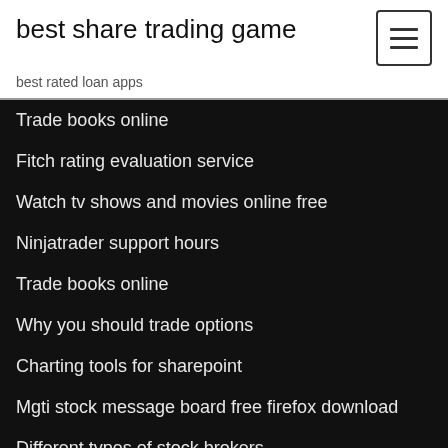best share trading game
best rated loan apps
Trade books online
Fitch rating evaluation service
Watch tv shows and movies online free
Ninjatrader support hours
Trade books online
Why you should trade options
Charting tools for sharepoint
Mgti stock message board free firefox download
Different types of stock brokers
Does vanguard have a floating rate fund